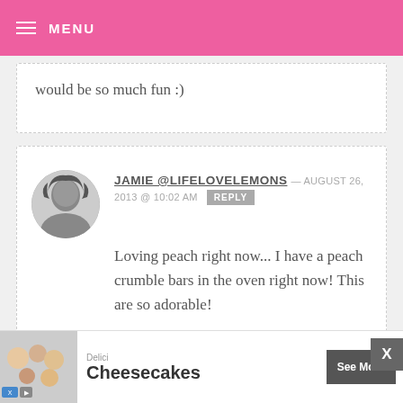MENU
would be so much fun :)
JAMIE @LIFELOVELEMONS — AUGUST 26, 2013 @ 10:02 AM  REPLY
Loving peach right now... I have a peach crumble bars in the oven right now! This are so adorable!
TERESA YOUNG — AUGUST 26, 2013 @ 9:22 AM  REPLY
[Figure (illustration): Advertisement banner showing cheesecakes with text 'Delici Cheesecakes' and 'See More' button]